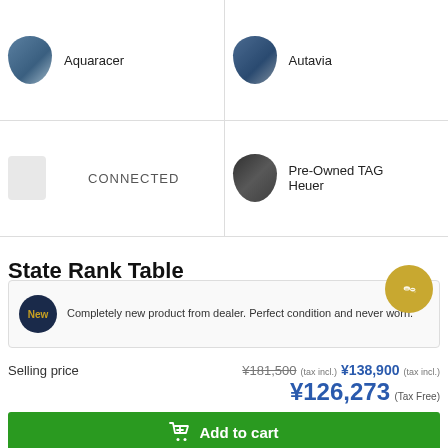[Figure (photo): Grid of watch category thumbnails: Aquaracer, Autavia, CONNECTED, Pre-Owned TAG Heuer]
Aquaracer
Autavia
CONNECTED
Pre-Owned TAG Heuer
State Rank Table
| New | Completely new product from dealer. Perfect condition and never worn. |
Selling price    ¥181,500 (tax incl.)  ¥138,900 (tax incl.)
¥126,273 (Tax Free)
Add to cart